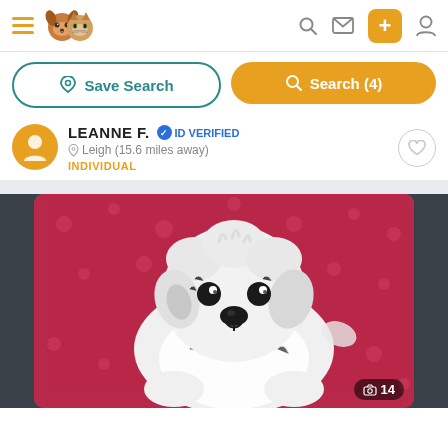Pet listing app navigation bar with hamburger menu, logo, search icon, message icon, add button, and profile icon
Save Search
Search (4)
LEANNE F. • ID VERIFIED
Leigh (15.6 miles away)
INDIVIDUAL
[Figure (photo): White fluffy puppy lying on a pink floral blanket, looking at the camera. Photo counter shows 14 images.]